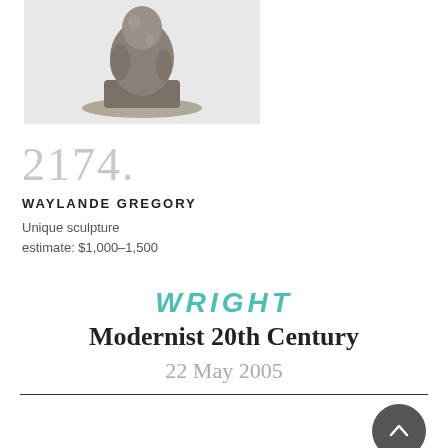[Figure (photo): Photograph of a bronze/stone unique sculpture by Waylande Gregory, showing a figurative sculpture on a dark base, against a light gray background]
2174.
WAYLANDE GREGORY
Unique sculpture
estimate: $1,000–1,500
WRIGHT
Modernist 20th Century
22 May 2005